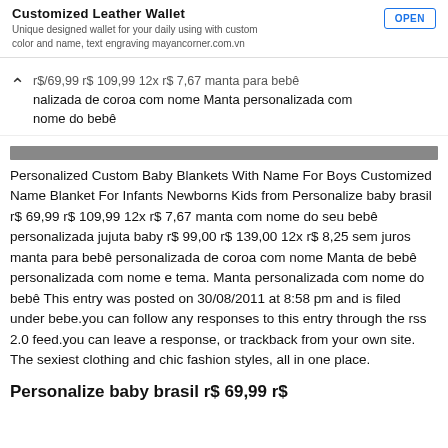Customized Leather Wallet — Unique designed wallet for your daily using with custom color and name, text engraving mayancorner.com.vn — OPEN
personalizada de coroa com nome Manta personalizada com nome do bebê
Personalized Custom Baby Blankets With Name For Boys Customized Name Blanket For Infants Newborns Kids from Personalize baby brasil r$ 69,99 r$ 109,99 12x r$ 7,67 manta com nome do seu bebê personalizada jujuta baby r$ 99,00 r$ 139,00 12x r$ 8,25 sem juros manta para bebê personalizada de coroa com nome Manta de bebê personalizada com nome e tema. Manta personalizada com nome do bebê This entry was posted on 30/08/2011 at 8:58 pm and is filed under bebe.you can follow any responses to this entry through the rss 2.0 feed.you can leave a response, or trackback from your own site. The sexiest clothing and chic fashion styles, all in one place.
Personalize baby brasil r$ 69,99 r$